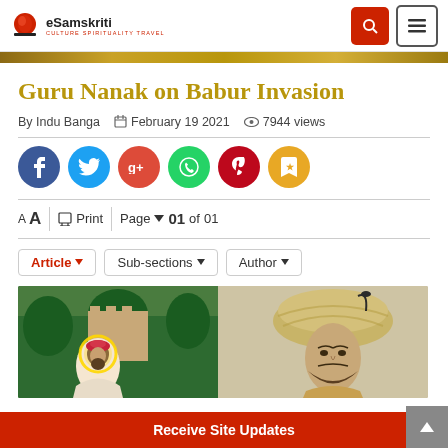[Figure (logo): eSamskriti logo with red circle and text 'eSamskriti - Culture Spirituality Travel']
Guru Nanak on Babur Invasion
By Indu Banga  📅 February 19 2021  👁 7944 views
[Figure (infographic): Social sharing buttons: Facebook, Twitter, Google+, WhatsApp, Pinterest, Bookmark]
A A  🖶 Print  Page ▼  01 of 01
Article ▼  Sub-sections ▼  Author ▼
[Figure (photo): Left half shows painting of Guru Nanak with halo, castle background; Right half shows Mughal emperor Babur portrait with turban]